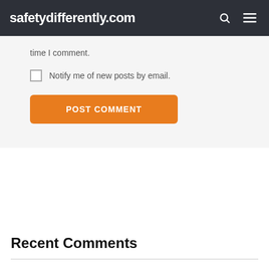safetydifferently.com
time I comment.
Notify me of new posts by email.
POST COMMENT
Recent Comments